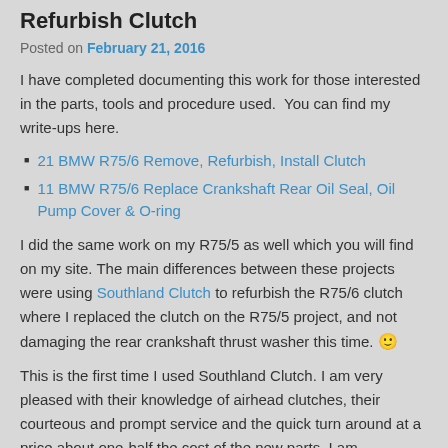Refurbish Clutch
Posted on February 21, 2016
I have completed documenting this work for those interested in the parts, tools and procedure used.  You can find my write-ups here.
21 BMW R75/6 Remove, Refurbish, Install Clutch
11 BMW R75/6 Replace Crankshaft Rear Oil Seal, Oil Pump Cover & O-ring
I did the same work on my R75/5 as well which you will find on my site. The main differences between these projects were using Southland Clutch to refurbish the R75/6 clutch where I replaced the clutch on the R75/5 project, and not damaging the rear crankshaft thrust washer this time. 🙂
This is the first time I used Southland Clutch. I am very pleased with their knowledge of airhead clutches, their courteous and prompt service and the quick turn around at a price about one-half the cost of the new parts. I am